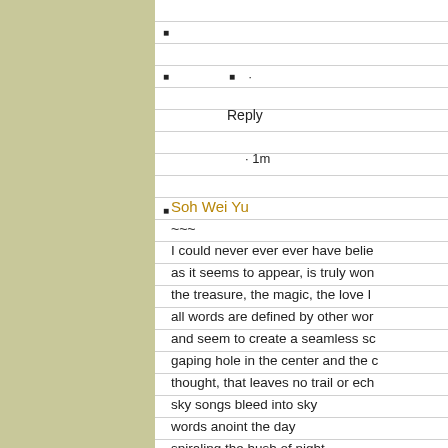■
■  ■  ·
Reply
· 1m
■
Soh Wei Yu
~~~
I could never ever ever have belie as it seems to appear, is truly won the treasure, the magic, the love I all words are defined by other wor and seem to create a seamless sc gaping hole in the center and the c thought, that leaves no trail or ech sky songs bleed into sky words anoint the day spiraling the hush of night into star shadows ~~~ this is pure intensity, not of a thing an ecstasy of unassailable unknow liquid prism of light flows through the colors it paints